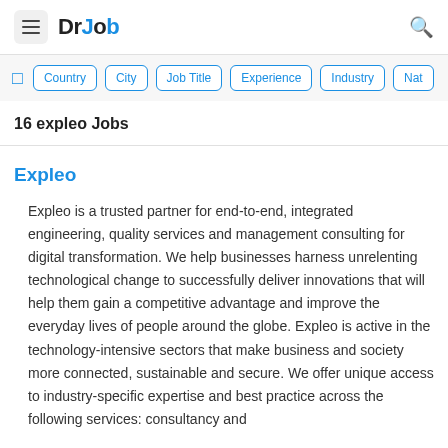DrJob
Country | City | Job Title | Experience | Industry | Nat
16 expleo Jobs
Expleo
Expleo is a trusted partner for end-to-end, integrated engineering, quality services and management consulting for digital transformation. We help businesses harness unrelenting technological change to successfully deliver innovations that will help them gain a competitive advantage and improve the everyday lives of people around the globe. Expleo is active in the technology-intensive sectors that make business and society more connected, sustainable and secure. We offer unique access to industry-specific expertise and best practice across the following services: consultancy and